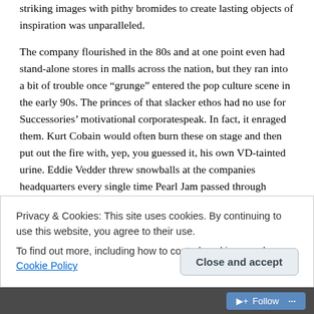striking images with pithy bromides to create lasting objects of inspiration was unparalleled.
The company flourished in the 80s and at one point even had stand-alone stores in malls across the nation, but they ran into a bit of trouble once “grunge” entered the pop culture scene in the early 90s. The princes of that slacker ethos had no use for Successories’ motivational corporatespeak. In fact, it enraged them. Kurt Cobain would often burn these on stage and then put out the fire with, yep, you guessed it, his own VD-tainted urine. Eddie Vedder threw snowballs at the companies headquarters every single time Pearl Jam passed through Illinois. (Except of course, when they toured in the Summer!) Layne Staley snorted
Privacy & Cookies: This site uses cookies. By continuing to use this website, you agree to their use.
To find out more, including how to control cookies, see here: Cookie Policy